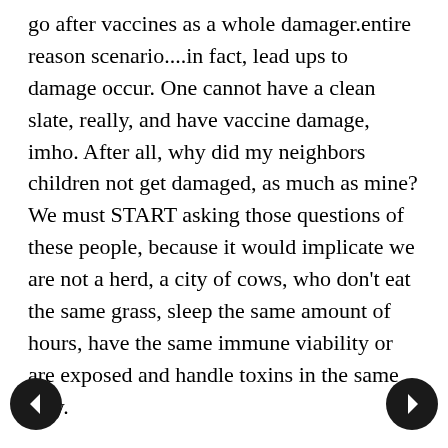go after vaccines as a whole damager.entire reason scenario....in fact, lead ups to damage occur. One cannot have a clean slate, really, and have vaccine damage, imho. After all, why did my neighbors children not get damaged, as much as mine? We must START asking those questions of these people, because it would implicate we are not a herd, a city of cows, who don't eat the same grass, sleep the same amount of hours, have the same immune viability or are exposed and handle toxins in the same way.

Our genetic part of autism is the inability to handle so furiously fast all these epigenetic changes in our environment, SO SUE ME? If you don't know what those changes are as a mom or dad, then you will have a child with